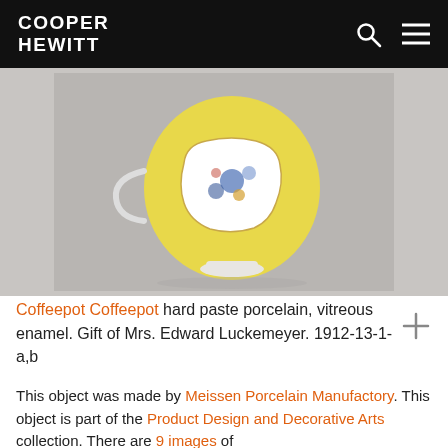COOPER HEWITT
[Figure (photo): Photograph of a Meissen coffeepot with yellow enamel body and white cartouche decorated with blue and multicolor floral motif, on a light grey background.]
Coffeepot Coffeepot hard paste porcelain, vitreous enamel. Gift of Mrs. Edward Luckemeyer. 1912-13-1-a,b
This object was made by Meissen Porcelain Manufactory. This object is part of the Product Design and Decorative Arts collection. There are 9 images of